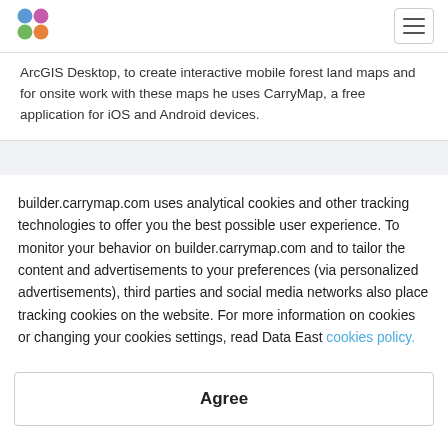[Figure (logo): CarryMap / Data East colorful logo with four colored circles]
ArcGIS Desktop, to create interactive mobile forest land maps and for onsite work with these maps he uses CarryMap, a free application for iOS and Android devices.
builder.carrymap.com uses analytical cookies and other tracking technologies to offer you the best possible user experience. To monitor your behavior on builder.carrymap.com and to tailor the content and advertisements to your preferences (via personalized advertisements), third parties and social media networks also place tracking cookies on the website. For more information on cookies or changing your cookies settings, read Data East cookies policy.
Agree